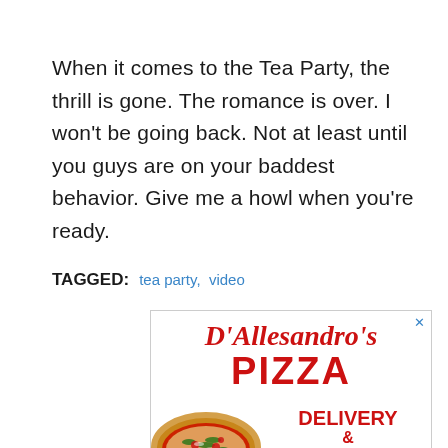When it comes to the Tea Party, the thrill is gone. The romance is over. I won't be going back. Not at least until you guys are on your baddest behavior. Give me a howl when you're ready.
TAGGED: tea party, video
[Figure (illustration): Advertisement for D'Allesandro's Pizza showing the restaurant logo in red script and block letters, a photo of a pizza, and the word DELIVERY with an ampersand below.]